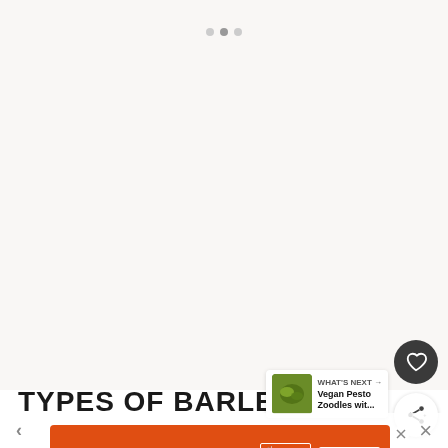[Figure (photo): Large off-white/beige area representing a recipe image placeholder for Types of Barley article]
TYPES OF BARLEY
[Figure (infographic): What's Next panel showing thumbnail of Vegan Pesto Zoodles with text 'WHAT'S NEXT → Vegan Pesto Zoodles wit...']
[Figure (infographic): Ad banner: 'You can help hungry kids. NO KID HUNGRY LEARN HOW']